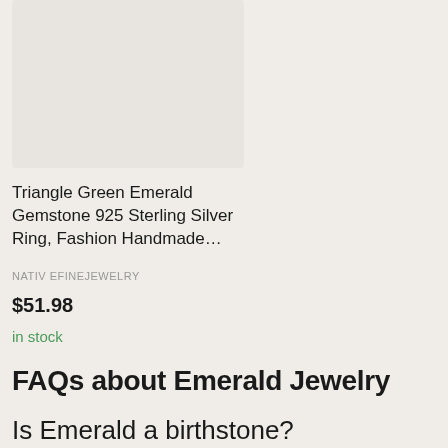[Figure (photo): Product image placeholder — light gray rectangle representing a jewelry product image]
Triangle Green Emerald Gemstone 925 Sterling Silver Ring, Fashion Handmade…
NATIV EFINEJEWELRY
$51.98
in stock
FAQs about Emerald Jewelry
Is Emerald a birthstone?